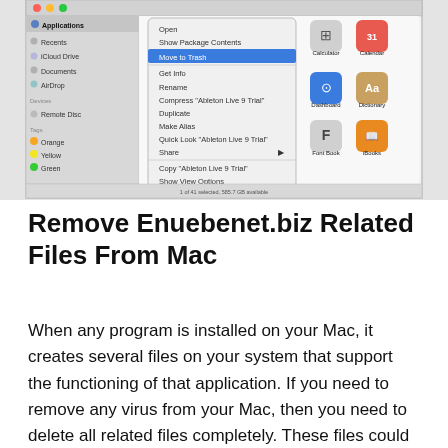[Figure (screenshot): Mac OS X Finder window showing a right-click context menu with 'Move to Trash' highlighted in blue, and app icons visible on the right side including Calculator, Calendar, Dashboard, Dictionary, Font Book, iBooks, iTunes, and Rocket.]
Remove Enuebenet.biz Related Files From Mac
When any program is installed on your Mac, it creates several files on your system that support the functioning of that application. If you need to remove any virus from your Mac, then you need to delete all related files completely. These files could